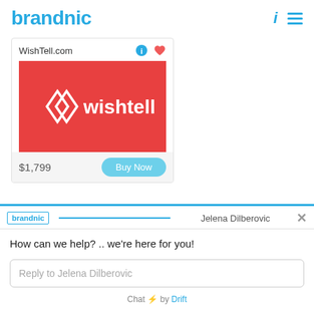brandnic
[Figure (screenshot): Product card for WishTell.com showing a red logo image, price $1,799 and Buy Now button]
[Figure (screenshot): Drift chat widget showing brandnic branding, agent Jelena Dilberovic, message 'How can we help? .. we're here for you!' and reply input field]